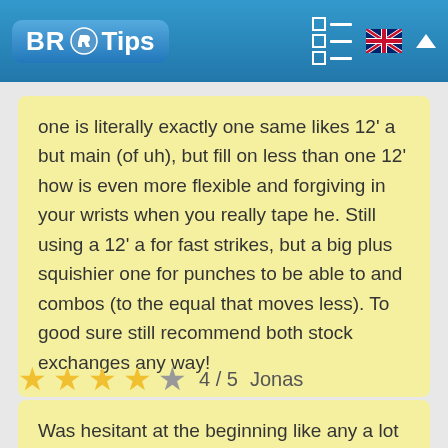BR Tips
one is literally exactly one same likes 12' a but main (of uh), but fill on less than one 12' how is even more flexible and forgiving in your wrists when you really tape he. Still using a 12' a for fast strikes, but a big plus squishier one for punches to be able to and combos (to the equal that moves less). To good sure still recommend both stock exchanges any way!
4 / 5  Jonas
Was hesitant at the beginning like any a lot of